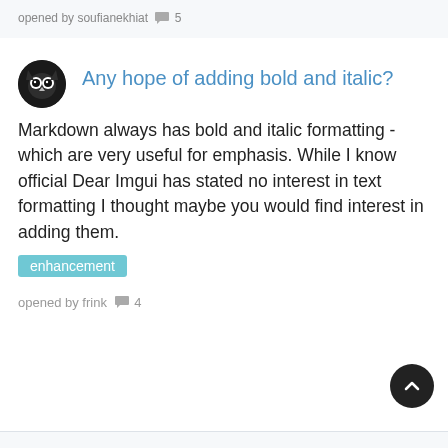opened by soufianekhiat 💬 5
Any hope of adding bold and italic?
Markdown always has bold and italic formatting - which are very useful for emphasis. While I know official Dear Imgui has stated no interest in text formatting I thought maybe you would find interest in adding them.
enhancement
opened by frink 💬 4